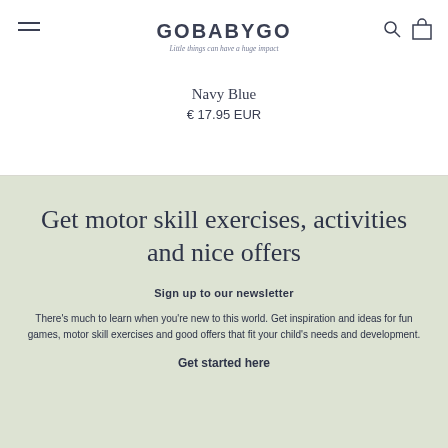GOBABYGO — Little things can have a huge impact
Navy Blue
€ 17.95 EUR
Get motor skill exercises, activities and nice offers
Sign up to our newsletter
There's much to learn when you're new to this world. Get inspiration and ideas for fun games, motor skill exercises and good offers that fit your child's needs and development.
Get started here